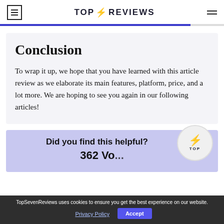TOP REVIEWS
Conclusion
To wrap it up, we hope that you have learned with this article review as we elaborate its main features, platform, price, and a lot more. We are hoping to see you again in our following articles!
Did you find this helpful?
362 Vo...
TopSevenReviews uses cookies to ensure you get the best experience on our website.
Privacy Policy  Accept